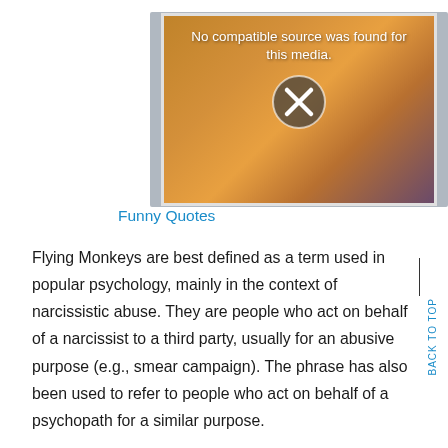[Figure (screenshot): Video player placeholder showing a woman with red hair, with a dark overlay and text 'No compatible source was found for this media.' and a circle X icon]
Funny Quotes
Flying Monkeys are best defined as a term used in popular psychology, mainly in the context of narcissistic abuse. They are people who act on behalf of a narcissist to a third party, usually for an abusive purpose (e.g., smear campaign). The phrase has also been used to refer to people who act on behalf of a psychopath for a similar purpose.